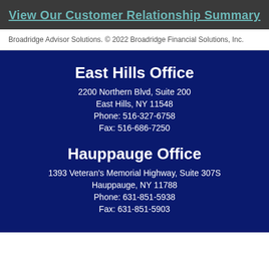View Our Customer Relationship Summary
Broadridge Advisor Solutions. © 2022 Broadridge Financial Solutions, Inc.
East Hills Office
2200 Northern Blvd, Suite 200
East Hills, NY 11548
Phone: 516-327-6758
Fax: 516-686-7250
Hauppauge Office
1393 Veteran's Memorial Highway, Suite 307S
Hauppauge, NY 11788
Phone: 631-851-5938
Fax: 631-851-5903